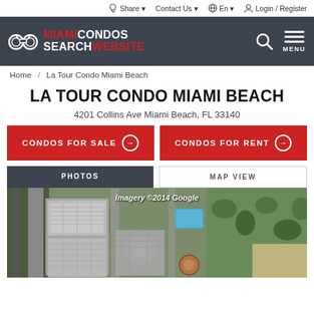Share  Contact Us  En  Login / Register
[Figure (logo): Miami Condos Search Website logo with binoculars icon]
Home / La Tour Condo Miami Beach
LA TOUR CONDO MIAMI BEACH
4201 Collins Ave Miami Beach, FL 33140
CONDOS FOR SALE →
CONDOS FOR RENT →
PHOTOS
MAP VIEW
[Figure (map): Aerial satellite view of La Tour Condo Miami Beach at 4201 Collins Ave, showing building complex near beach, with 'Imagery ©2014 Google' watermark]